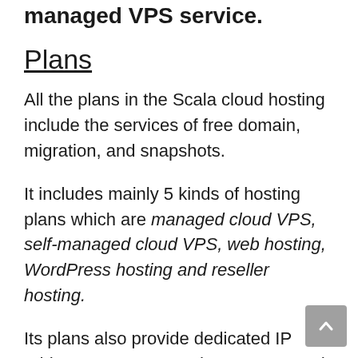managed VPS service.
Plans
All the plans in the Scala cloud hosting include the services of free domain, migration, and snapshots.
It includes mainly 5 kinds of hosting plans which are managed cloud VPS, self-managed cloud VPS, web hosting, WordPress hosting and reseller hosting.
Its plans also provide dedicated IP addresses, guaranteed resources, and higher rankings in Google.